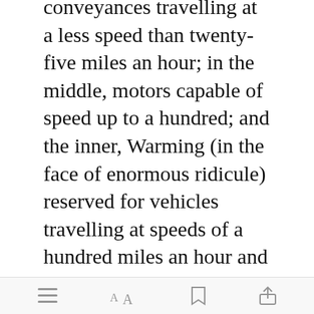conveyances travelling at a less speed than twenty-five miles an hour; in the middle, motors capable of speed up to a hundred; and the inner, Warming (in the face of enormous ridicule) reserved for vehicles travelling at speeds of a hundred miles an hour and upward.
For ten years his inner ways were vacant. Before he died they were the most crowded of all, and vast light
[Figure (screenshot): Green 'Open in app' button overlay appearing over the second paragraph text]
Toolbar with menu, font size, bookmark, and share icons